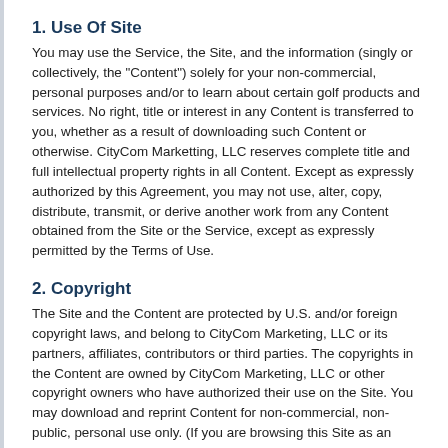1. Use Of Site
You may use the Service, the Site, and the information (singly or collectively, the "Content") solely for your non-commercial, personal purposes and/or to learn about certain golf products and services. No right, title or interest in any Content is transferred to you, whether as a result of downloading such Content or otherwise. CityCom Marketting, LLC reserves complete title and full intellectual property rights in all Content. Except as expressly authorized by this Agreement, you may not use, alter, copy, distribute, transmit, or derive another work from any Content obtained from the Site or the Service, except as expressly permitted by the Terms of Use.
2. Copyright
The Site and the Content are protected by U.S. and/or foreign copyright laws, and belong to CityCom Marketing, LLC or its partners, affiliates, contributors or third parties. The copyrights in the Content are owned by CityCom Marketing, LLC or other copyright owners who have authorized their use on the Site. You may download and reprint Content for non-commercial, non-public, personal use only. (If you are browsing this Site as an employee or member of any business or organization, you may download and reprint Content only for educational or other non-commercial purposes within your business or organization, except as otherwise permitted by CityCom Marketing, LLC)